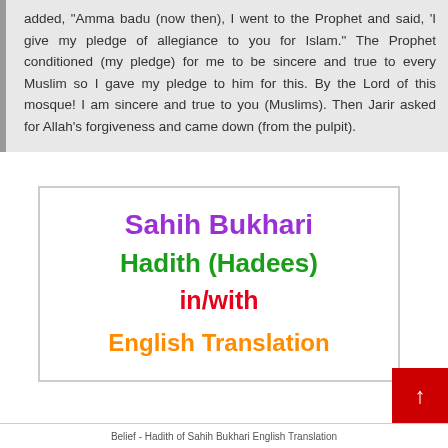added, "Amma badu (now then), I went to the Prophet and said, 'I give my pledge of allegiance to you for Islam." The Prophet conditioned (my pledge) for me to be sincere and true to every Muslim so I gave my pledge to him for this. By the Lord of this mosque! I am sincere and true to you (Muslims). Then Jarir asked for Allah's forgiveness and came down (from the pulpit).
[Figure (other): Book cover card for 'Sahih Bukhari Hadith (Hadees) in/with English Translation' with colored title text on white background with border]
Belief - Hadith of Sahih Bukhari English Translation